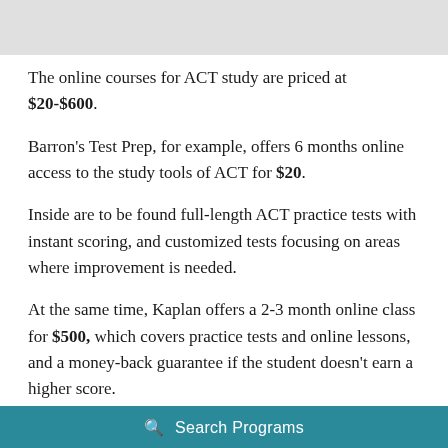[Figure (photo): Top portion of an image, mostly gray/light colored, partially cut off at top of page]
The online courses for ACT study are priced at $20-$600.
Barron's Test Prep, for example, offers 6 months online access to the study tools of ACT for $20.
Inside are to be found full-length ACT practice tests with instant scoring, and customized tests focusing on areas where improvement is needed.
At the same time, Kaplan offers a 2-3 month online class for $500, which covers practice tests and online lessons, and a money-back guarantee if the student doesn't earn a higher score.
Search Programs